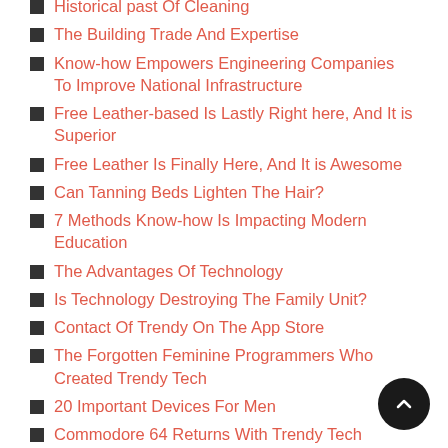Historical past Of Cleaning
The Building Trade And Expertise
Know-how Empowers Engineering Companies To Improve National Infrastructure
Free Leather-based Is Lastly Right here, And It is Superior
Free Leather Is Finally Here, And It is Awesome
Can Tanning Beds Lighten The Hair?
7 Methods Know-how Is Impacting Modern Education
The Advantages Of Technology
Is Technology Destroying The Family Unit?
Contact Of Trendy On The App Store
The Forgotten Feminine Programmers Who Created Trendy Tech
20 Important Devices For Men
Commodore 64 Returns With Trendy Tech Crowdfunding Marketing campaign
Personalizing Trendy Health...